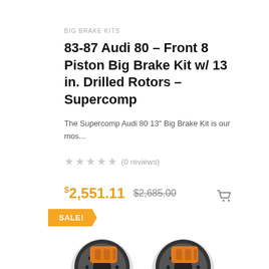BIG BRAKE KITS
83-87 Audi 80 – Front 8 Piston Big Brake Kit w/ 13 in. Drilled Rotors – Supercomp
The Supercomp Audi 80 13" Big Brake Kit is our mos...
★★★★★ (0 reviews)
$2,551.11  $2,685.00
SALE!
[Figure (photo): Two orange brake calipers with drilled rotors for Audi 80 Big Brake Kit]